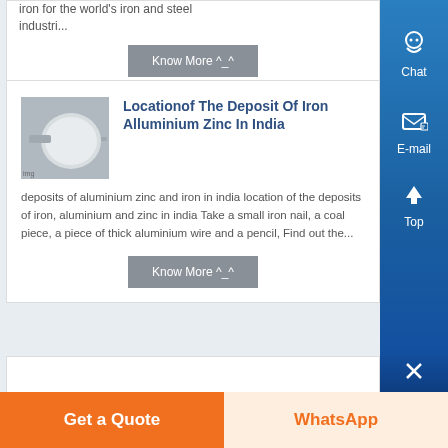iron for the world's iron and steel industri...
Know More ^_^
Locationof The Deposit Of Iron Alluminium Zinc In India
deposits of aluminium zinc and iron in india location of the deposits of iron, aluminium and zinc in india Take a small iron nail, a coal piece, a piece of thick aluminium wire and a pencil, Find out the...
Know More ^_^
Chat
E-mail
Top
Get a Quote
WhatsApp